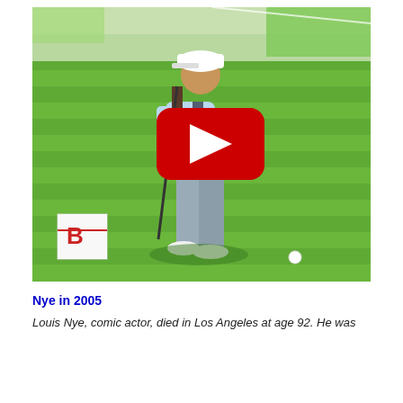[Figure (photo): A golfer mid-swing on a grass fairway, wearing a light blue shirt, white cap, and grey pants. A Bridgestone golf ball box is visible in the lower left. A YouTube play button overlay is centered on the image.]
Nye in 2005
Louis Nye, comic actor, died in Los Angeles at age 92. He was